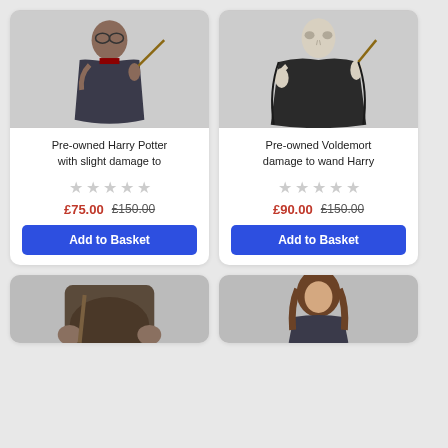[Figure (photo): Product photo of a pre-owned Harry Potter figurine in dark robes holding a wand]
Pre-owned Harry Potter with slight damage to
★★★★★ (empty stars rating)
£75.00  £150.00
Add to Basket
[Figure (photo): Product photo of a pre-owned Voldemort figurine in dark robes holding a wand]
Pre-owned Voldemort damage to wand Harry
★★★★★ (empty stars rating)
£90.00  £150.00
Add to Basket
[Figure (photo): Partial product photo of a Hagrid figurine, lower card cut off]
[Figure (photo): Partial product photo of a Hermione figurine, lower card cut off]